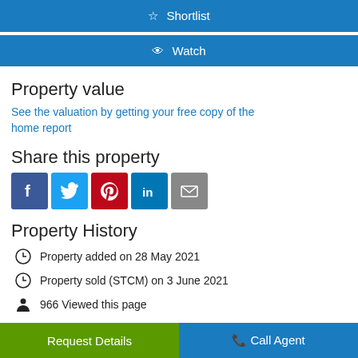☆ Shortlist
👁 Watch
Property value
See the valuation by getting your free copy of the home report
Share this property
[Figure (infographic): Social sharing icons: Facebook, Twitter, Pinterest, LinkedIn, Email]
Property History
Property added on 28 May 2021
Property sold (STCM) on 3 June 2021
966 Viewed this page
0 People currently watching
Request Details
Call Agent